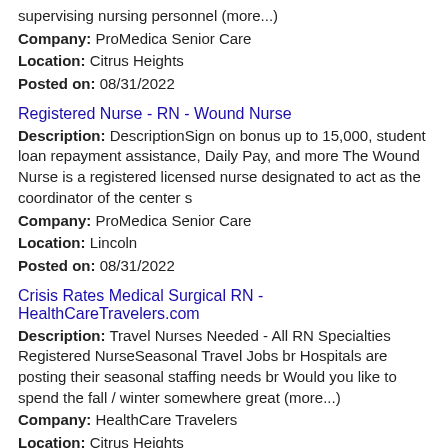supervising nursing personnel (more...)
Company: ProMedica Senior Care
Location: Citrus Heights
Posted on: 08/31/2022
Registered Nurse - RN - Wound Nurse
Description: DescriptionSign on bonus up to 15,000, student loan repayment assistance, Daily Pay, and more The Wound Nurse is a registered licensed nurse designated to act as the coordinator of the center s
Company: ProMedica Senior Care
Location: Lincoln
Posted on: 08/31/2022
Crisis Rates Medical Surgical RN - HealthCareTravelers.com
Description: Travel Nurses Needed - All RN Specialties Registered NurseSeasonal Travel Jobs br Hospitals are posting their seasonal staffing needs br Would you like to spend the fall / winter somewhere great (more...)
Company: HealthCare Travelers
Location: Citrus Heights
Posted on: 08/31/2022